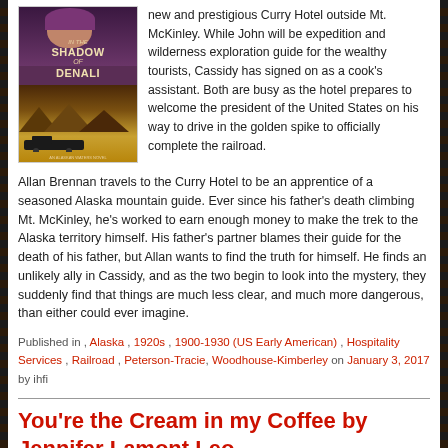[Figure (illustration): Book cover for 'In the Shadow of Denali' showing a woman's face at top, stylized mountains and train in lower half, warm golden-brown tones]
new and prestigious Curry Hotel outside Mt. McKinley. While John will be expedition and wilderness exploration guide for the wealthy tourists, Cassidy has signed on as a cook's assistant. Both are busy as the hotel prepares to welcome the president of the United States on his way to drive in the golden spike to officially complete the railroad.
Allan Brennan travels to the Curry Hotel to be an apprentice of a seasoned Alaska mountain guide. Ever since his father's death climbing Mt. McKinley, he's worked to earn enough money to make the trek to the Alaska territory himself. His father's partner blames their guide for the death of his father, but Allan wants to find the truth for himself. He finds an unlikely ally in Cassidy, and as the two begin to look into the mystery, they suddenly find that things are much less clear, and much more dangerous, than either could ever imagine.
Published in , Alaska , 1920s , 1900-1930 (US Early American) , Hospitality Services , Railroad , Peterson-Tracie, Woodhouse-Kimberley on January 3, 2017 by ihfi
You're the Cream in my Coffee by Jennifer Lamont Leo
No Comments